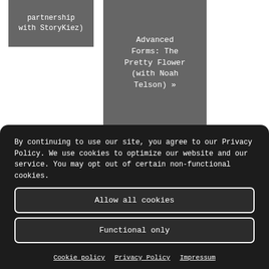partnership with StoryKiez)
Advanced Forms: The Pretty Flower (with Noah Telson) »
By continuing to use our site, you agree to our Privacy Policy. We use cookies to optimize our website and our service. You may opt out of certain non-functional cookies.
Allow all cookies
Functional only
Preferences
Cookie policy   Privacy Policy   Impressum